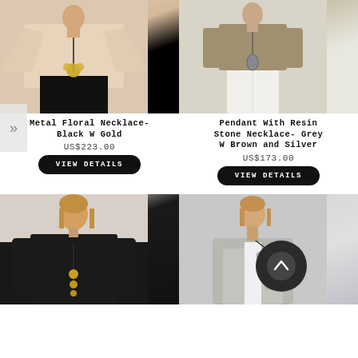[Figure (photo): Woman wearing Metal Floral Necklace Black W Gold, cream top with wide sleeves and black bottom]
Metal Floral Necklace- Black W Gold
US$223.00
VIEW DETAILS
[Figure (photo): Woman wearing Pendant With Resin Stone Necklace Grey W Brown and Silver, khaki knit top and white pants]
Pendant With Resin Stone Necklace- Grey W Brown and Silver
US$173.00
VIEW DETAILS
[Figure (photo): Woman in black sweater wearing long necklace with gold beads]
[Figure (photo): Woman in grey cardigan holding large dark circular pendant necklace]